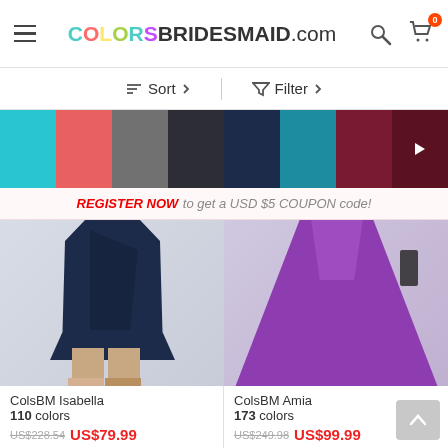COLORSBRIDESMAID.com
Sort  Filter
[Figure (screenshot): Color swatch selectors: cyan, coral, gray, dark gray/charcoal, navy, teal, burgundy, dark burgundy with arrow]
REGISTER NOW to get a USD $5 COUPON code!
[Figure (photo): ColsBM Isabella dress in navy color - midi length wrap style dress on a model]
[Figure (photo): ColsBM Amia dress in purple color - full length flared dress on a model]
ColsBM Isabella
110 colors
US$228.54 US$79.99
★★★★☆ (2)
ColsBM Amia
173 colors
US$249.98 US$99.99